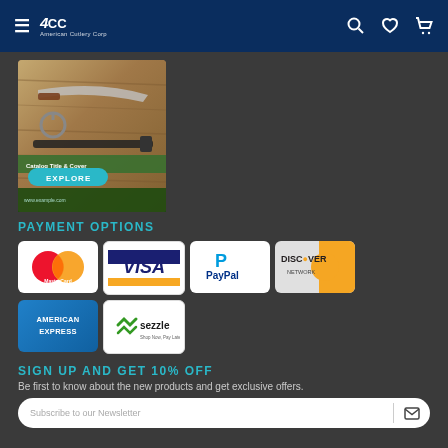4CC (logo) — navigation header with hamburger menu, search, wishlist, cart icons
[Figure (photo): Catalog booklet image showing knives and tools on a wooden surface, with a teal EXPLORE button overlay]
PAYMENT OPTIONS
[Figure (infographic): Payment method logos: MasterCard, VISA, PayPal, Discover Network, American Express, Sezzle]
SIGN UP AND GET 10% OFF
Be first to know about the new products and get exclusive offers.
Subscribe to our Newsletter